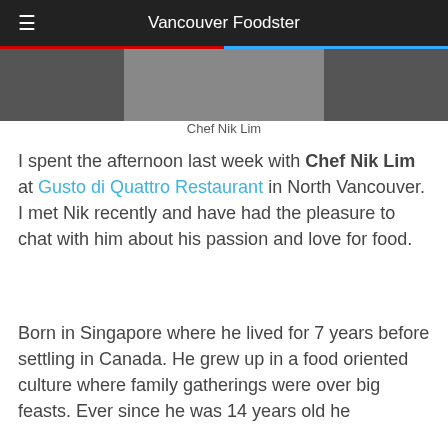Vancouver Foodster
[Figure (photo): Cropped photo of Chef Nik Lim, shown from shoulders up against a dark background]
Chef Nik Lim
I spent the afternoon last week with Chef Nik Lim at Gusto di Quattro Restaurant in North Vancouver. I met Nik recently and have had the pleasure to chat with him about his passion and love for food.
Born in Singapore where he lived for 7 years before settling in Canada. He grew up in a food oriented culture where family gatherings were over big feasts. Ever since he was 14 years old he